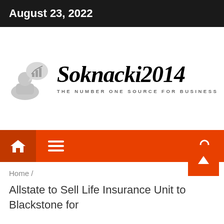August 23, 2022
[Figure (logo): Soknacki2014 logo with business person icon and tagline THE NUMBER ONE SOURCE FOR BUSINESS]
[Figure (infographic): Orange navigation bar with home icon, hamburger menu icon, and search icon]
Home /
Allstate to Sell Life Insurance Unit to Blackstone for